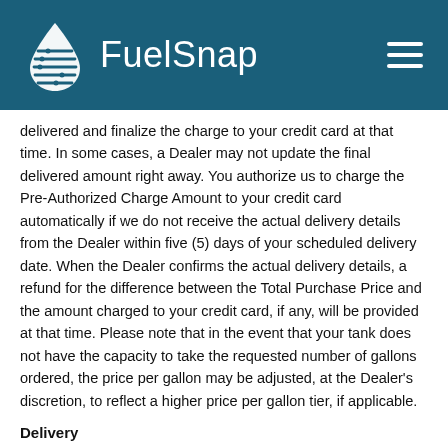FuelSnap
delivered and finalize the charge to your credit card at that time. In some cases, a Dealer may not update the final delivered amount right away. You authorize us to charge the Pre-Authorized Charge Amount to your credit card automatically if we do not receive the actual delivery details from the Dealer within five (5) days of your scheduled delivery date. When the Dealer confirms the actual delivery details, a refund for the difference between the Total Purchase Price and the amount charged to your credit card, if any, will be provided at that time. Please note that in the event that your tank does not have the capacity to take the requested number of gallons ordered, the price per gallon may be adjusted, at the Dealer's discretion, to reflect a higher price per gallon tier, if applicable.
Delivery
Delivery of the Products you purchase through the FuelSnap Marketplace is made by the Dealer and not CCF. You agree that CCF has no obligation to deliver any Product you purchase through the FuelSnap Marketplace. You agree that CCF may provide to the Dealer